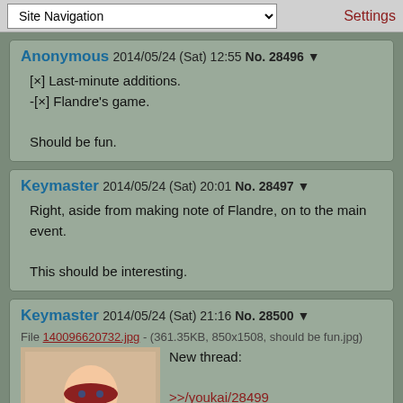Site Navigation | Settings
Anonymous 2014/05/24 (Sat) 12:55 No. 28496 ▼
[x] Last-minute additions.
-[x] Flandre's game.

Should be fun.
Keymaster 2014/05/24 (Sat) 20:01 No. 28497 ▼
Right, aside from making note of Flandre, on to the main event.

This should be interesting.
Keymaster 2014/05/24 (Sat) 21:16 No. 28500 ▼
File 140096620732.jpg - (361.35KB, 850x1508, should be fun.jpg)
New thread:
>>/youkai/28499